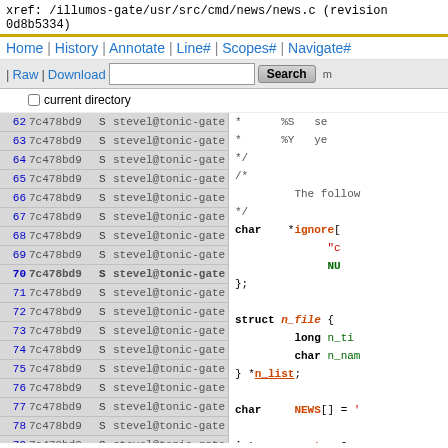xref: /illumos-gate/usr/src/cmd/news/news.c (revision 0d8b5334)
Home | History | Annotate | Line# | Scopes# | Navigate# | Raw | Download  [checkbox] current directory  Search
Source code lines 62-85 with annotations: line numbers, revision 7c478bd9, S flag, author stevel@tonic-gate; code showing char *ignore[], struct n_file, char NEWS[], int aopt, n_count, number_read, nopt, optsw, opt